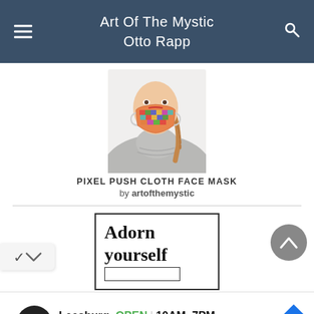Art Of The Mystic Otto Rapp
[Figure (photo): Woman wearing a colorful pixel-art cloth face mask with a grey turtleneck sweater, hair in a braid]
PIXEL PUSH CLOTH FACE MASK
by artofthemystic
[Figure (advertisement): Ad for jewelry/accessories store with text 'Adorn yourself' in serif font inside a bordered box, with a smaller empty bordered rectangle below]
Leesburg  OPEN  10AM–7PM
241 Fort Evans Rd NE, Leesburg